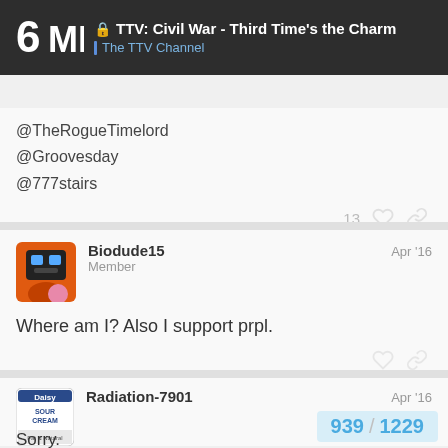TTV: Civil War - Third Time's the Charm | The TTV Channel
@TheRogueTimelord
@Groovesday
@777stairs
13
Biodude15
Member
Apr '16
Where am I? Also I support prpl.
Radiation-7901
Apr '16
Sorry.
939 / 1229